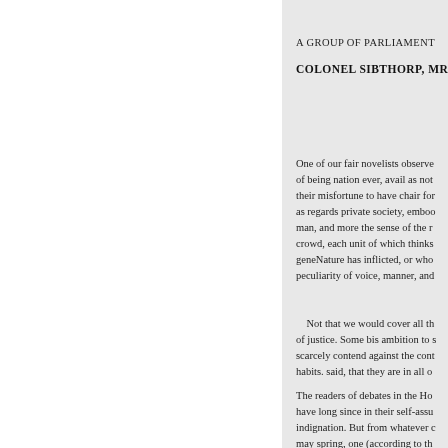A GROUP OF PARLIAMENT
COLONEL SIBTHORP, MR. M
One of our fair novelists observe of being nation ever, avail as not their misfortune to have chair for as regards private society, emboo man, and more the sense of the r crowd, each unit of which thinks geneNature has inflicted, or who peculiarity of voice, manner, and
Not that we would cover all th of justice. Some bis ambition to s scarcely contend against the cont habits. said, that they are in all o
The readers of debates in the Ho have long since in their self-assu indignation. But from whatever c may spring, one (according to th